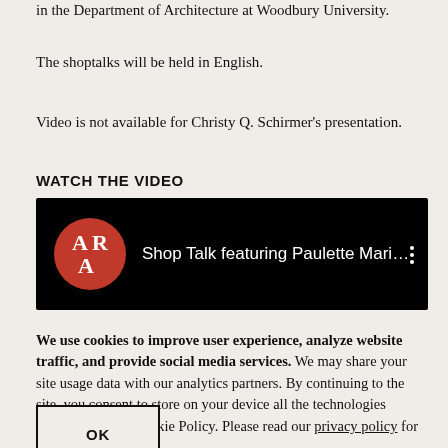in the Department of Architecture at Woodbury University.
The shoptalks will be held in English.
Video is not available for Christy Q. Schirmer’s presentation.
WATCH THE VIDEO
[Figure (screenshot): YouTube video thumbnail with black background showing the AAR logo (red circle with white letters A and R) and text 'Shop Talk featuring Paulette Marie ...' with a three-dot menu icon on the right.]
We use cookies to improve user experience, analyze website traffic, and provide social media services. We may share your site usage data with our analytics partners. By continuing to the site, you consent to store on your device all the technologies described in our Cookie Policy. Please read our privacy policy for full details.
OK